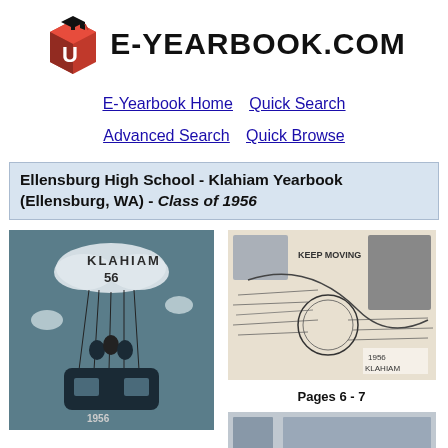[Figure (logo): E-Yearbook.com logo with red graduation cap cube and bold text E-YEARBOOK.COM]
E-Yearbook Home
Quick Search
Advanced Search
Quick Browse
Ellensburg High School - Klahiam Yearbook (Ellensburg, WA) - Class of 1956
[Figure (photo): Yearbook cover showing students in hot air balloon with KLAHIAM 56 text, blue/teal illustrated style]
[Figure (photo): Yearbook interior pages 6-7 showing handwritten inscriptions and photos collage with '1956 KLAHIAM' text]
Pages 6 - 7
[Figure (photo): Another yearbook page thumbnail, partially visible at bottom]